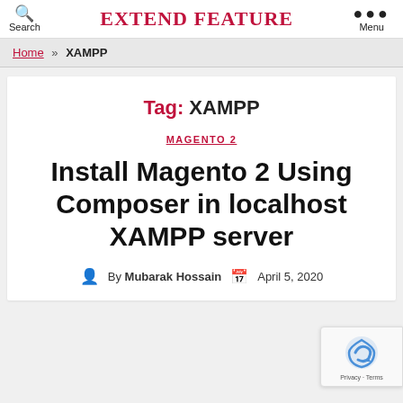Search | EXTEND FEATURE | Menu
Home » XAMPP
Tag: XAMPP
MAGENTO 2
Install Magento 2 Using Composer in localhost XAMPP server
By Mubarak Hossain   April 5, 2020